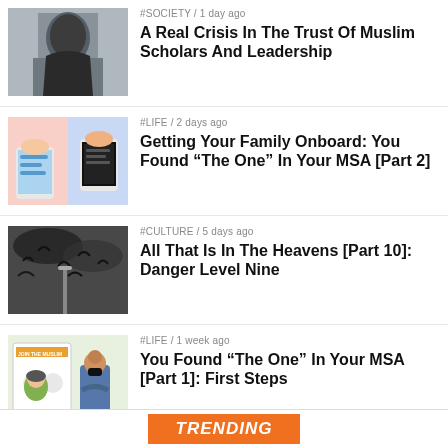[Figure (photo): Photo of a person in a black hijab viewed from behind]
#SOCIETY / 1 day ago
A Real Crisis In The Trust Of Muslim Scholars And Leadership
[Figure (illustration): Illustration of hands holding smartphones with messaging screens]
#LIFE / 2 days ago
Getting Your Family Onboard: You Found “The One” In Your MSA [Part 2]
[Figure (photo): Photo of birds or bats flying in a dark sky]
#CULTURE / 5 days ago
All That Is In The Heavens [Part 10]: Danger Level Nine
[Figure (illustration): Illustration of two people standing near an MSA sign/poster]
#LIFE / 1 week ago
You Found “The One” In Your MSA [Part 1]: First Steps
TRENDING